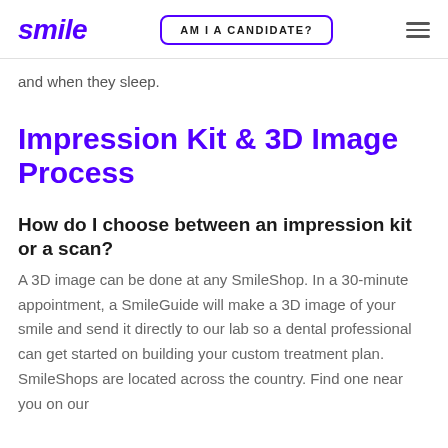smile | AM I A CANDIDATE?
and when they sleep.
Impression Kit & 3D Image Process
How do I choose between an impression kit or a scan?
A 3D image can be done at any SmileShop. In a 30-minute appointment, a SmileGuide will make a 3D image of your smile and send it directly to our lab so a dental professional can get started on building your custom treatment plan. SmileShops are located across the country. Find one near you on our